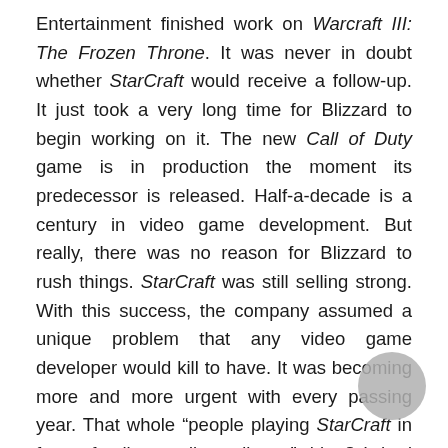Entertainment finished work on Warcraft III: The Frozen Throne. It was never in doubt whether StarCraft would receive a follow-up. It just took a very long time for Blizzard to begin working on it. The new Call of Duty game is in production the moment its predecessor is released. Half-a-decade is a century in video game development. But really, there was no reason for Blizzard to rush things. StarCraft was still selling strong. With this success, the company assumed a unique problem that any video game developer would kill to have. It was becoming more and more urgent with every passing year. That whole “people playing StarCraft in front of a live studio audience” thing? It had been upgraded to “people playing StarCraft in front